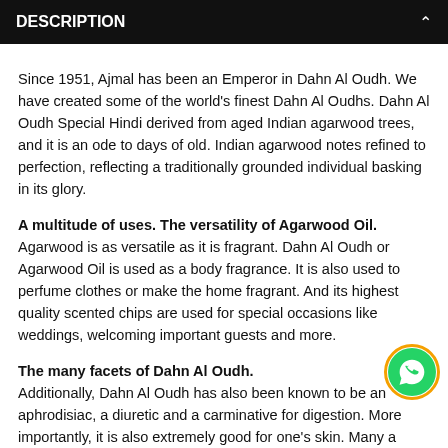DESCRIPTION
Since 1951, Ajmal has been an Emperor in Dahn Al Oudh. We have created some of the world's finest Dahn Al Oudhs. Dahn Al Oudh Special Hindi derived from aged Indian agarwood trees, and it is an ode to days of old. Indian agarwood notes refined to perfection, reflecting a traditionally grounded individual basking in its glory.
A multitude of uses. The versatility of Agarwood Oil. Agarwood is as versatile as it is fragrant. Dahn Al Oudh or Agarwood Oil is used as a body fragrance. It is also used to perfume clothes or make the home fragrant. And its highest quality scented chips are used for special occasions like weddings, welcoming important guests and more.
The many facets of Dahn Al Oudh. Additionally, Dahn Al Oudh has also been known to be an aphrodisiac, a diuretic and a carminative for digestion. More importantly, it is also extremely good for one's skin. Many a Middle Eastern woman has used Dahn Al Oudh to nourish and repair skin cells and prevent ageing, wrinkles and skin marks.
Dahn Al Oudh can also be used in many ways, proving its